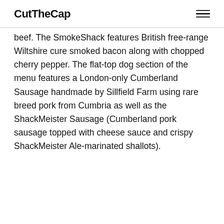CutTheCap
beef. The SmokeShack features British free-range Wiltshire cure smoked bacon along with chopped cherry pepper. The flat-top dog section of the menu features a London-only Cumberland Sausage handmade by Sillfield Farm using rare breed pork from Cumbria as well as the ShackMeister Sausage (Cumberland pork sausage topped with cheese sauce and crispy ShackMeister Ale-marinated shallots).